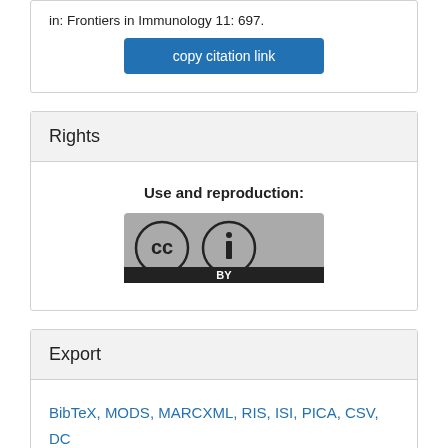in: Frontiers in Immunology 11: 697.
copy citation link
Rights
Use and reproduction:
[Figure (logo): Creative Commons BY license badge showing CC and person icon with BY label]
Export
BibTeX, MODS, MARCXML, RIS, ISI, PICA, CSV, DC